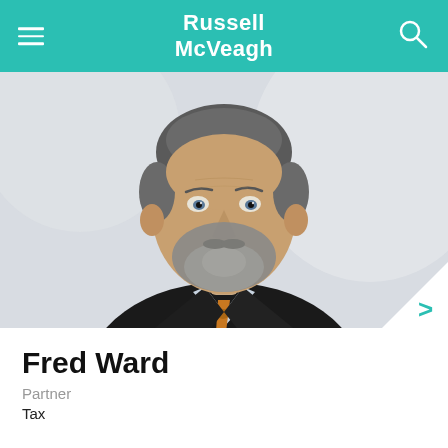Russell McVeagh
[Figure (photo): Professional headshot of Fred Ward, a middle-aged man with grey-streaked hair and beard, wearing a dark pinstripe suit jacket, light blue checked shirt, and a colourful tie, smiling at the camera against a light background.]
Fred Ward
Partner
Tax